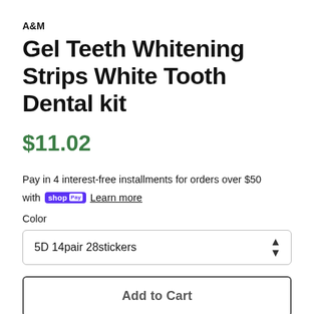A&M
Gel Teeth Whitening Strips White Tooth Dental kit
$11.02
Pay in 4 interest-free installments for orders over $50 with shop Pay   Learn more
Color
5D 14pair 28stickers
Add to Cart